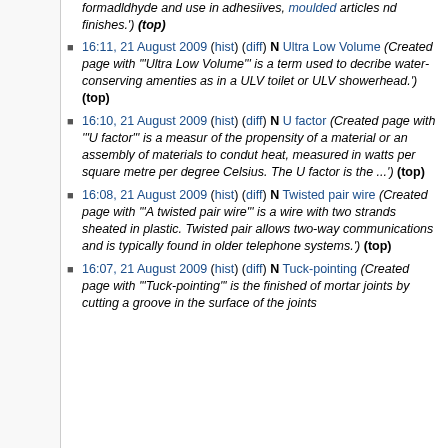16:11, 21 August 2009 (hist) (diff) N Ultra Low Volume (Created page with '"Ultra Low Volume"' is a term used to decribe water-conserving amenties as in a ULV toilet or ULV showerhead.') (top)
16:10, 21 August 2009 (hist) (diff) N U factor (Created page with '"U factor"' is a measur of the propensity of a material or an assembly of materials to condut heat, measured in watts per square metre per degree Celsius. The U factor is the ...') (top)
16:08, 21 August 2009 (hist) (diff) N Twisted pair wire (Created page with '"A twisted pair wire"' is a wire with two strands sheated in plastic. Twisted pair allows two-way communications and is typically found in older telephone systems.') (top)
16:07, 21 August 2009 (hist) (diff) N Tuck-pointing (Created page with '"Tuck-pointing"' is the finished of mortar joints by cutting a groove in the surface of the joints...